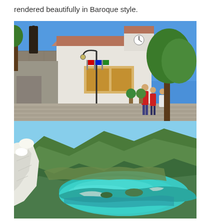rendered beautifully in Baroque style.
[Figure (photo): A Spanish town square with a white Baroque-style building featuring a clock tower, a statue on a stone pedestal, a street lamp, trees, and people walking in the plaza under a blue sky.]
[Figure (photo): An aerial view of a turquoise reservoir or lake surrounded by forested green hills and terraced hillsides, with white rocky cliffs visible on the left side.]